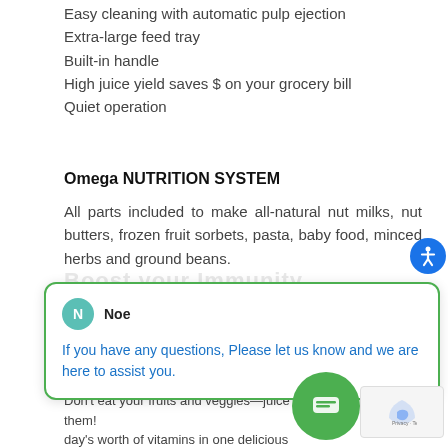Easy cleaning with automatic pulp ejection
Extra-large feed tray
Built-in handle
High juice yield saves $ on your grocery bill
Quiet operation
Omega NUTRITION SYSTEM
All parts included to make all-natural nut milks, nut butters, frozen fruit sorbets, pasta, baby food, minced herbs and ground beans.
If you have any questions, Please let us know and we are here to assist you.
MAXIMUM NUTRITION
Don't eat your fruits and veggies—juice them! day's worth of vitamins in one delicious juice!